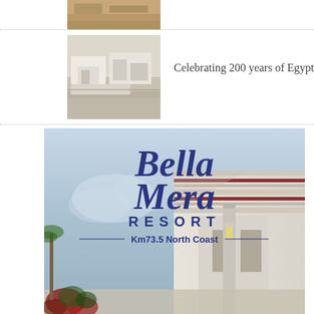[Figure (photo): Partial view of a sandy/earthy archaeological site photo at top]
[Figure (photo): Photo of white stone ruins or archaeological site, possibly Egyptian]
Celebrating 200 years of Egyptology
[Figure (illustration): Bella Mera Resort advertisement image showing a modern white building with dark blue striped accents against a blue sky, with logo text 'Bella Mera Resort Km73.5 North Coast' overlaid]